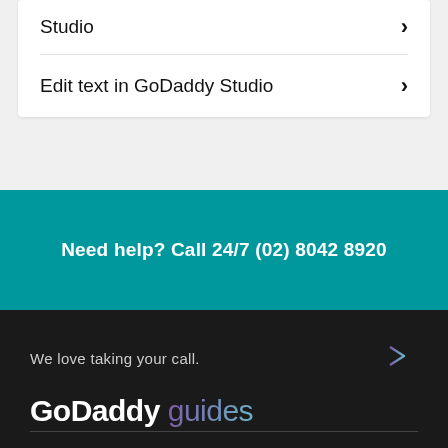Studio →
Edit text in GoDaddy Studio →
Need help? Call 24/7 (02) 8042 8920
We love taking your call.
GoDaddy guides